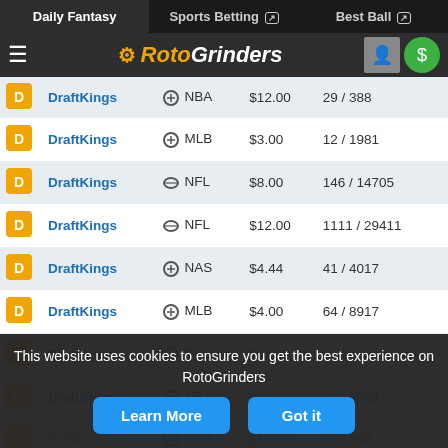Daily Fantasy | Sports Betting | Best Ball
[Figure (logo): RotoGrinders logo with hamburger menu, user icon, and dollar sign button]
| Site | Sport | Price | Entries |
| --- | --- | --- | --- |
| DraftKings | NBA | $12.00 | 29 / 388 |
| DraftKings | MLB | $3.00 | 12 / 1981 |
| DraftKings | NFL | $8.00 | 146 / 14705 |
| DraftKings | NFL | $12.00 | 1111 / 29411 |
| DraftKings | NAS | $4.44 | 41 / 4017 |
| DraftKings | MLB | $4.00 | 64 / 8917 |
| DraftKings | PGA | $12.00 | 52 / 980 |
| DraftKings | NBA | $3.00 | 21 / 3963 |
| DraftKings | NBA | $10.00 | 71 / 888 |
This website uses cookies to ensure you get the best experience on RotoGrinders
Learn More | Got it